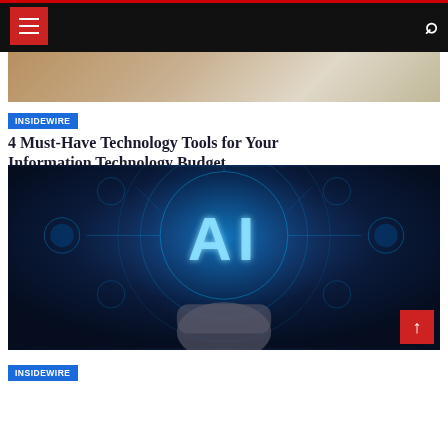INSIDEWIRE navigation header with menu and search icons
[Figure (photo): Partial image from previous article, showing glasses/books background]
INSIDEWIRE
4 Must-Have Technology Tools for Your Information Technology Budget
[Figure (photo): AI conceptual image showing glowing AI text letters on a hand with blue digital circuit network background]
INSIDEWIRE